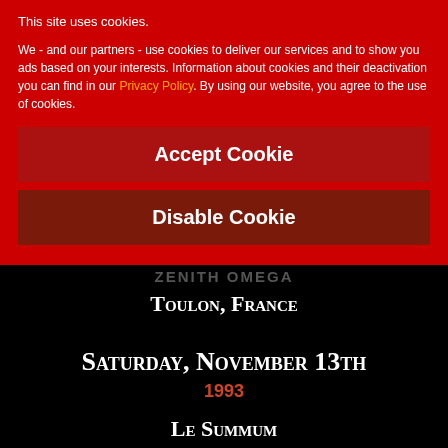This site uses cookies.
We - and our partners - use cookies to deliver our services and to show you ads based on your interests. Information about cookies and their deactivation you can find in our Privacy Policy. By using our website, you agree to the use of cookies.
Accept Cookie
Disable Cookie
Zenith Omega
Toulon, France
Saturday, November 13th
1993
Le Summum
Grenoble, France